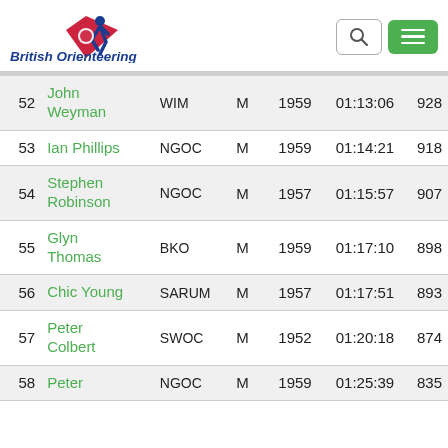British Orienteering
| # | Name | Club | Gender | Year | Time | Score |
| --- | --- | --- | --- | --- | --- | --- |
| 52 | John Weyman | WIM | M | 1959 | 01:13:06 | 928 |
| 53 | Ian Phillips | NGOC | M | 1959 | 01:14:21 | 918 |
| 54 | Stephen Robinson | NGOC | M | 1957 | 01:15:57 | 907 |
| 55 | Glyn Thomas | BKO | M | 1959 | 01:17:10 | 898 |
| 56 | Chic Young | SARUM | M | 1957 | 01:17:51 | 893 |
| 57 | Peter Colbert | SWOC | M | 1952 | 01:20:18 | 874 |
| 58 | Peter | NGOC | M | 1959 | 01:25:39 | 835 |